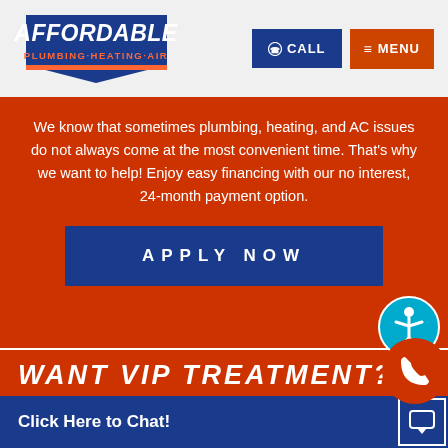Affordable Plumbing Heating Air | CALL | MENU
We know that sometimes plumbing, heating, and AC issues do not always come at the most convenient time. That's why we want to help! Enjoy easy financing with our no interest, 24-month payment option.
APPLY NOW
WANT VIP TREATMENT?
When you join Affordable Plumbing, Heating & Air's VIP Club, you get more than just annual plumbing
Click Here to Chat!